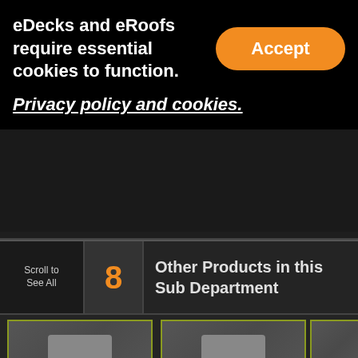eDecks and eRoofs require essential cookies to function.
Accept
Privacy policy and cookies.
[Figure (screenshot): Product cards row with gray image placeholders and olive/yellow-green border]
Scroll Left Right to View...
Scroll to See All
8
Other Products in this Sub Department
QUICK ADD
[Figure (screenshot): Product thumbnail cards with olive border at bottom of page]